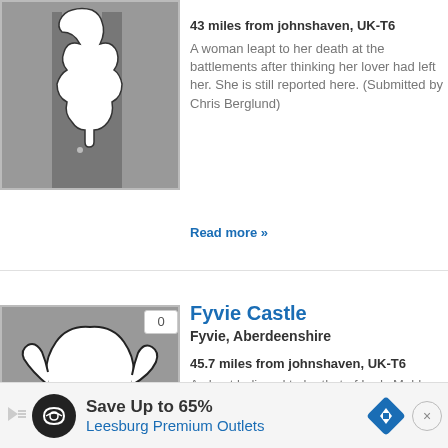43 miles from johnshaven, UK-T6
A woman leapt to her death at the battlements after thinking her lover had left her. She is still reported here. (Submitted by Chris Berglund)
Read more »
[Figure (illustration): Ghost illustration on gray background]
Fyvie Castle
Fyvie, Aberdeenshire
45.7 miles from johnshaven, UK-T6
A ghost believed to be that of Lady Meldrum (who died in the 13th century) has been spotted ever since her remains were moved from inside of the castle to a cemetery. Another spirit, that of Dane Lilias Drummond, was heartbroken after her husband left her for her cousin. She ...
Read more »
Save Up to 65%
Leesburg Premium Outlets